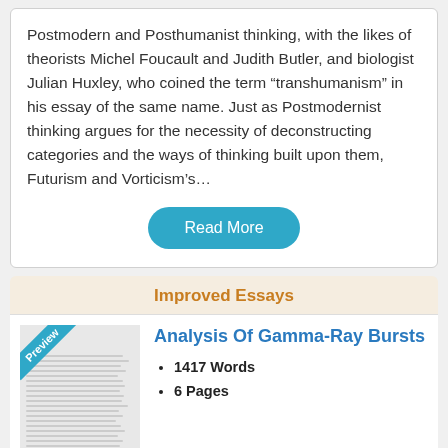Postmodern and Posthumanist thinking, with the likes of theorists Michel Foucault and Judith Butler, and biologist Julian Huxley, who coined the term “transhumanism” in his essay of the same name. Just as Postmodernist thinking argues for the necessity of deconstructing categories and the ways of thinking built upon them, Futurism and Vorticism’s…
Read More
Improved Essays
[Figure (other): Preview thumbnail of an essay document with a blue diagonal 'Preview' badge in the top-left corner and lines of simulated text.]
Analysis Of Gamma-Ray Bursts
1417 Words
6 Pages